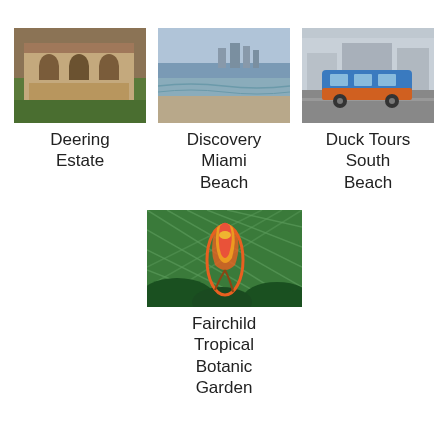[Figure (photo): Photo of Deering Estate building with arches and vegetation]
Deering Estate
[Figure (photo): Photo of Discovery Miami Beach shoreline with city skyline]
Discovery Miami Beach
[Figure (photo): Photo of Duck Tours South Beach with a blue amphibious vehicle on street]
Duck Tours South Beach
[Figure (photo): Photo of Fairchild Tropical Botanic Garden with colorful glass sculpture among tropical plants]
Fairchild Tropical Botanic Garden